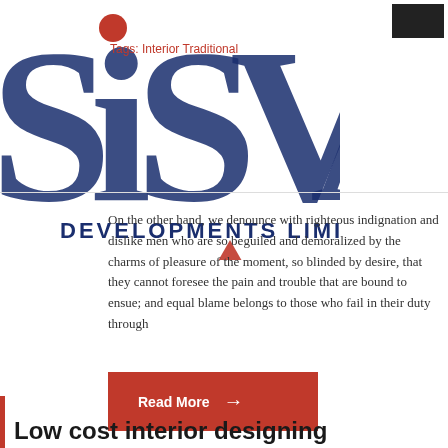[Figure (logo): Sisvas Developments Limited watermark logo in dark blue with red triangle, overlaid on page content]
Tags: Interior Traditional
On the other hand, we denounce with righteous indignation and dislike men who are so beguiled and demoralized by the charms of pleasure of the moment, so blinded by desire, that they cannot foresee the pain and trouble that are bound to ensue; and equal blame belongs to those who fail in their duty through
Read More →
Low cost interior designing